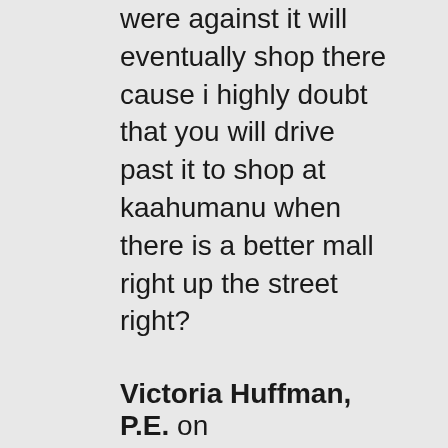were against it will eventually shop there cause i highly doubt that you will drive past it to shop at kaahumanu when there is a better mall right up the street right?
Victoria Huffman, P.E. on April 30, 2012 at 10:07 pm
Maui,
The developer did not do everything by the book.
The site was entitled as an industrial park, not as a shopping center. A shopping center this size generates FOUR to FIVE times the amount of traffic as an industrial park.